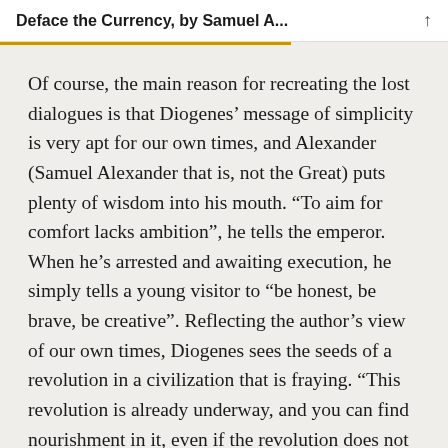Deface the Currency, by Samuel A...
Of course, the main reason for recreating the lost dialogues is that Diogenes’ message of simplicity is very apt for our own times, and Alexander (Samuel Alexander that is, not the Great) puts plenty of wisdom into his mouth. “To aim for comfort lacks ambition”, he tells the emperor. When he’s arrested and awaiting execution, he simply tells a young visitor to “be honest, be brave, be creative”. Reflecting the author’s view of our own times, Diogenes sees the seeds of a revolution in a civilization that is fraying. “This revolution is already underway, and you can find nourishment in it, even if the revolution does not